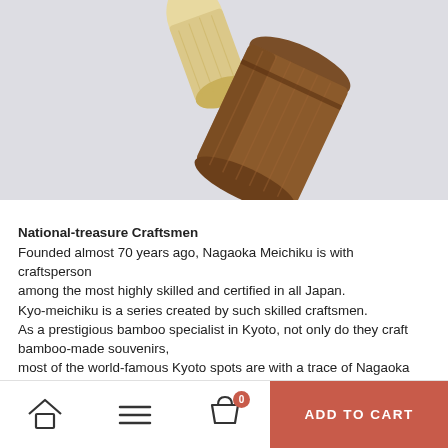[Figure (photo): Product photo showing bamboo items - a light cream/natural colored bamboo piece and a darker brown polished bamboo cup or container, on a light grey/white background.]
National-treasure Craftsmen
Founded almost 70 years ago, Nagaoka Meichiku is with craftsperson
among the most highly skilled and certified in all Japan.
Kyo-meichiku is a series created by such skilled craftsmen.
As a prestigious bamboo specialist in Kyoto, not only do they craft bamboo-made souvenirs,
most of the world-famous Kyoto spots are with a trace of Nagaoka Meichiku.
Be it the Takegaki of Ryōan-Ji, or the oldest Zen Temple in Japan - Ken'nin-Ji,
their bamboo fence are all crafted with care and skill by the bamboo
ADD TO CART